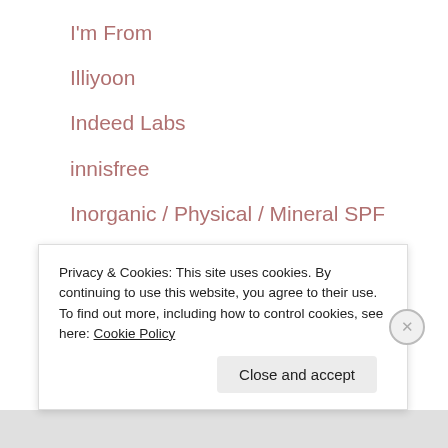I'm From
Illiyoon
Indeed Labs
innisfree
Inorganic / Physical / Mineral SPF
iope
Isntree
iUNIK
j-beauty
Privacy & Cookies: This site uses cookies. By continuing to use this website, you agree to their use.
To find out more, including how to control cookies, see here: Cookie Policy